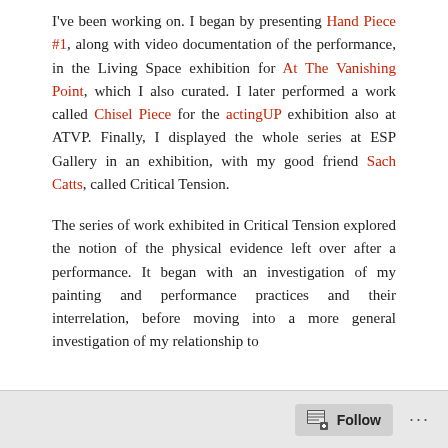I've been working on. I began by presenting Hand Piece #1, along with video documentation of the performance, in the Living Space exhibition for At The Vanishing Point, which I also curated. I later performed a work called Chisel Piece for the actingUP exhibition also at ATVP. Finally, I displayed the whole series at ESP Gallery in an exhibition, with my good friend Sach Catts, called Critical Tension.
The series of work exhibited in Critical Tension explored the notion of the physical evidence left over after a performance. It began with an investigation of my painting and performance practices and their interrelation, before moving into a more general investigation of my relationship to
Follow ...